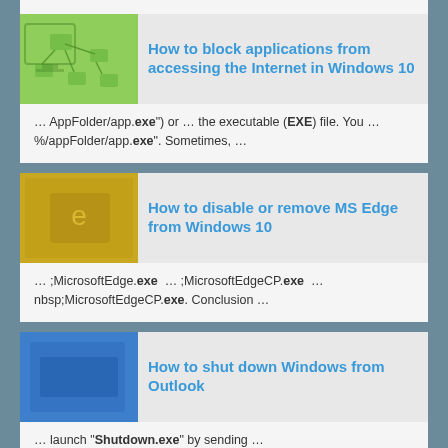How to block applications from accessing the Internet in Windows 10
… AppFolder/app.exe") or … the executable (EXE) file. You … %/appFolder/app.exe". Sometimes, …
How to disable or remove MS Edge from Windows 10
… ;MicrosoftEdge.exe  … ;MicrosoftEdgeCP.exe  … nbsp;MicrosoftEdgeCP.exe. Conclusion …
How to shut down Windows from Outlook
… launch "Shutdown.exe" by sending …